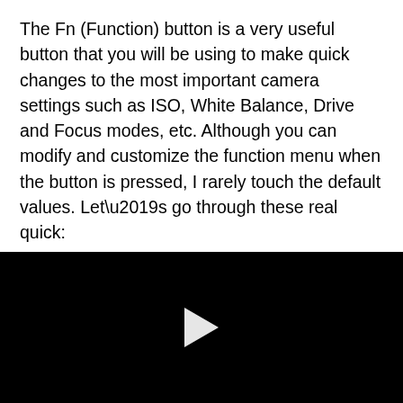The Fn (Function) button is a very useful button that you will be using to make quick changes to the most important camera settings such as ISO, White Balance, Drive and Focus modes, etc. Although you can modify and customize the function menu when the button is pressed, I rarely touch the default values. Let’s go through these real quick:
Drive Mode: I mostly keep it at “Single Shooting”, but sometimes switch to Self-Timer (when photographing on
[Figure (other): Black video player with a white play button triangle in the center]